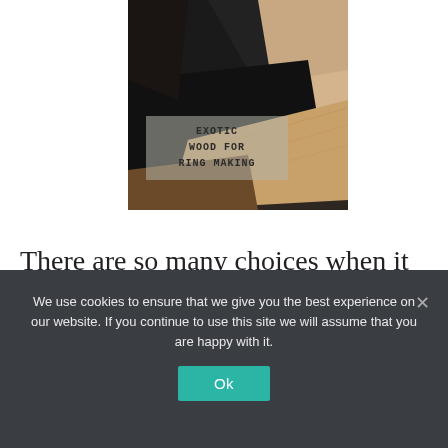[Figure (photo): Photo of exotic wood blocks and slabs of various colors (dark ebony, light maple/cherry) arranged together, with a semi-transparent overlay box displaying the text 'EXOTIC WOOD FOR RING MAKING' in monospace uppercase lettering.]
There are so many choices when it
We use cookies to ensure that we give you the best experience on our website. If you continue to use this site we will assume that you are happy with it.
Ok